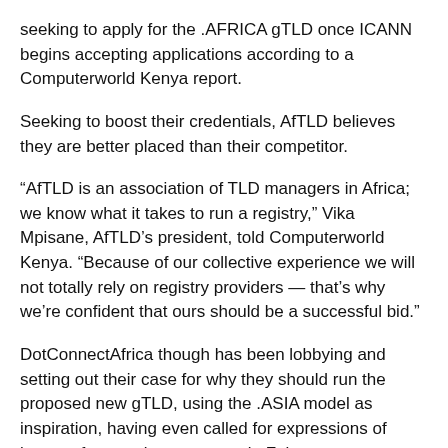seeking to apply for the .AFRICA gTLD once ICANN begins accepting applications according to a Computerworld Kenya report.
Seeking to boost their credentials, AfTLD believes they are better placed than their competitor.
“AfTLD is an association of TLD managers in Africa; we know what it takes to run a registry,” Vika Mpisane, AfTLD’s president, told Computerworld Kenya. “Because of our collective experience we will not totally rely on registry providers — that’s why we’re confident that ours should be a successful bid.”
DotConnectAfrica though has been lobbying and setting out their case for why they should run the proposed new gTLD, using the .ASIA model as inspiration, having even called for expressions of interest for a registry operator in February.